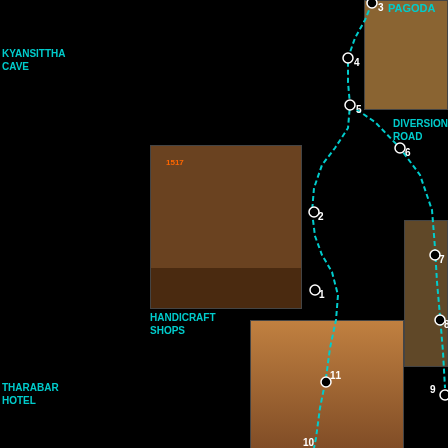[Figure (map): Tourist map of Bagan, Myanmar showing numbered route waypoints connecting landmarks including Pagoda, Kyansittha Cave, Highway, Diversion Road, Handicraft Shops, Gubyauk Gyi, Cemetery, Tharabar Hotel, Ananda Paya, Thamanpaya, and other sites. Photos of each location are placed around the map with dotted route lines connecting numbered stops 1-11.]